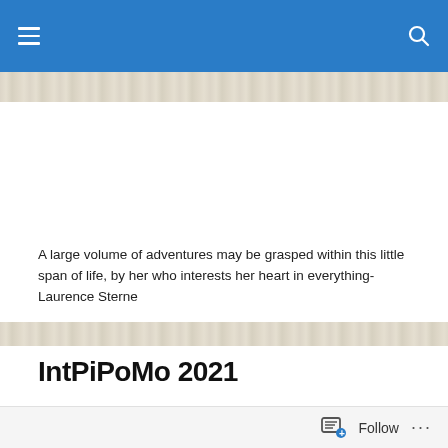A large volume of adventures may be grasped within this little span of life, by her who interests her heart in everything-Laurence Sterne
IntPiPoMo 2021
[Figure (logo): IntPiPoMo 2021 logo in large purple-to-blue gradient bubble letters with '2021' in blue script above the right side]
Follow